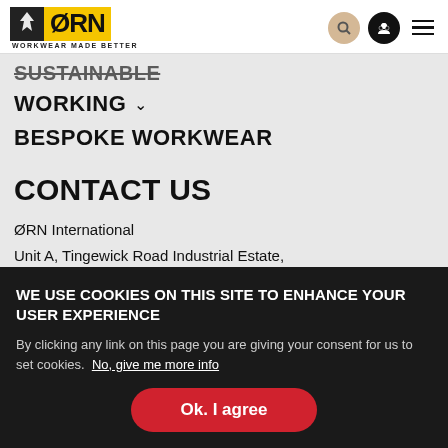[Figure (logo): ØRN logo with eagle icon and yellow background, tagline WORKWEAR MADE BETTER]
SUSTAINABLE
WORKING ∨
BESPOKE WORKWEAR
CONTACT US
ØRN International
Unit A, Tingewick Road Industrial Estate,
Buckingham, MK18 1SU.
WE USE COOKIES ON THIS SITE TO ENHANCE YOUR USER EXPERIENCE
By clicking any link on this page you are giving your consent for us to set cookies. No, give me more info
Ok. I agree